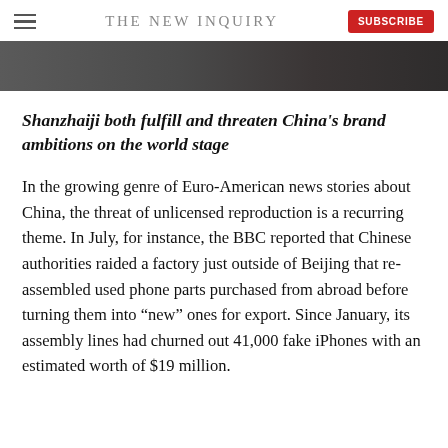THE NEW INQUIRY
[Figure (photo): Partial image strip at top of page, dark tones]
Shanzhaiji both fulfill and threaten China's brand ambitions on the world stage
In the growing genre of Euro-American news stories about China, the threat of unlicensed reproduction is a recurring theme. In July, for instance, the BBC reported that Chinese authorities raided a factory just outside of Beijing that re-assembled used phone parts purchased from abroad before turning them into “new” ones for export. Since January, its assembly lines had churned out 41,000 fake iPhones with an estimated worth of $19 million.